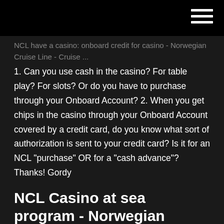NCL have a casino: onboard credit for casino - Norwegian Cruise Line - Cruise ... 1. Can you use cash in the casino? For table play? For slots? Or do you have to purchase through your Onboard Account? 2. When you get chips in the casino through your Onboard Account covered by a credit card, do you know what sort of authorization is sent to your credit card? Is it for an NCL "purchase" OR for a "cash advance"? Thanks! Gordy
NCL Casino at sea program - Norwegian Cruise Line - Cruise ...
These ships do not have casinos. These ships do not have casinos. Holland America Line: Blackjack, roulette, craps, three-card poker, Texas Hold 'em, slots. $5 for table games;